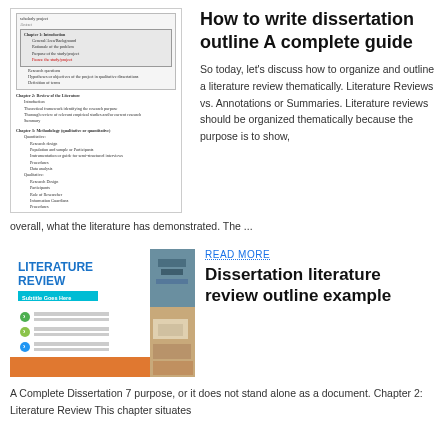[Figure (illustration): Preview thumbnail of a dissertation outline document showing table of contents with chapters and subheadings]
How to write dissertation outline A complete guide
So today, let's discuss how to organize and outline a literature review thematically. Literature Reviews vs. Annotations or Summaries. Literature reviews should be organized thematically because the purpose is to show, overall, what the literature has demonstrated. The ...
[Figure (illustration): Literature Review thumbnail with LITERATURE REVIEW heading, Subtitle Goes Here in cyan bar, green and blue bullet points, and a background photo of stacked books/notebooks on a desk]
READ MORE
Dissertation literature review outline example
A Complete Dissertation 7 purpose, or it does not stand alone as a document. Chapter 2: Literature Review This chapter situates